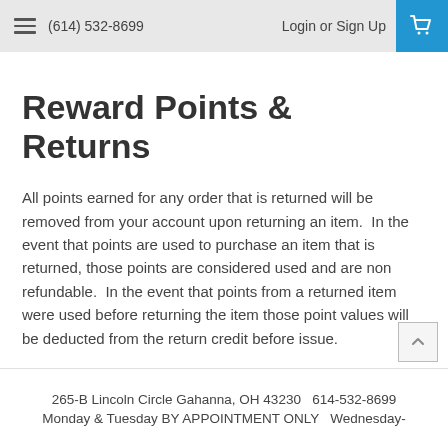(614) 532-8699  Login or  Sign Up
Reward Points & Returns
All points earned for any order that is returned will be removed from your account upon returning an item.  In the event that points are used to purchase an item that is returned, those points are considered used and are non refundable.  In the event that points from a returned item were used before returning the item those point values will be deducted from the return credit before issue.
265-B Lincoln Circle Gahanna, OH 43230   614-532-8699
Monday & Tuesday BY APPOINTMENT ONLY   Wednesday-